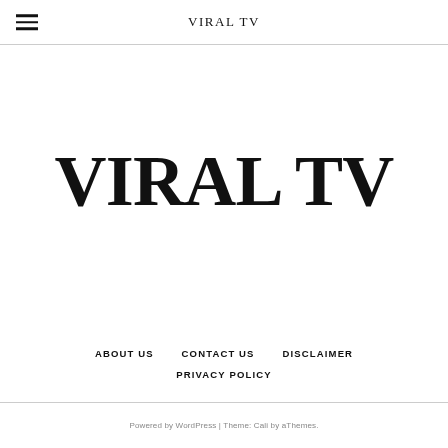VIRAL TV
VIRAL TV
ABOUT US
CONTACT US
DISCLAIMER
PRIVACY POLICY
Powered by WordPress | Theme: Cali by aThemes.